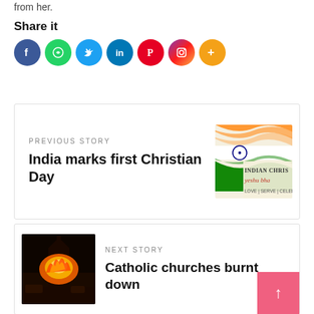from her.
Share it
[Figure (infographic): Row of social share icon circles: Facebook (blue), WhatsApp (green), Twitter (light blue), LinkedIn (dark blue), Pinterest (red), Instagram (gradient purple-orange), More (orange plus)]
PREVIOUS STORY
India marks first Christian Day
[Figure (photo): Indian flag with Indian Christian event branding text: INDIAN CHRIS, yeshu bha, LOVE | SERVE | CELEBR]
NEXT STORY
Catholic churches burnt down
[Figure (photo): Night photo of a church building on fire with flames visible]